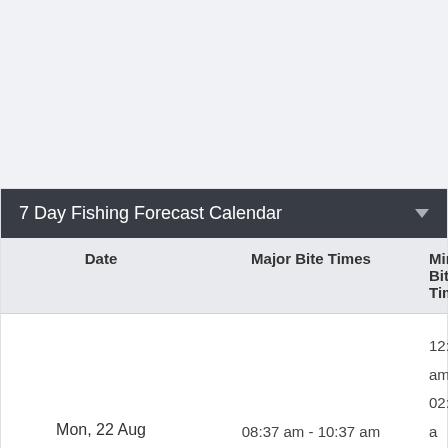7 Day Fishing Forecast Calendar
| Date | Major Bite Times | Minor Bite Times |
| --- | --- | --- |
| Mon, 22 Aug ★★★☆ | 08:37 am - 10:37 am
09:03 pm - 11:03 pm | 12:48 am - 02:48 a…
04:26 pm - 06:26 p… |